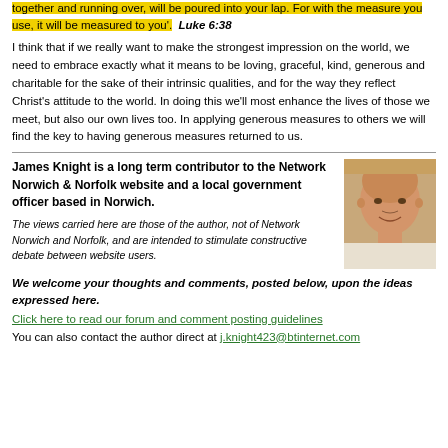together and running over, will be poured into your lap. For with the measure you use, it will be measured to you'.  Luke 6:38
I think that if we really want to make the strongest impression on the world, we need to embrace exactly what it means to be loving, graceful, kind, generous and charitable for the sake of their intrinsic qualities, and for the way they reflect Christ's attitude to the world. In doing this we'll most enhance the lives of those we meet, but also our own lives too. In applying generous measures to others we will find the key to having generous measures returned to us.
James Knight is a long term contributor to the Network Norwich & Norfolk website and a local government officer based in Norwich.
[Figure (photo): Portrait photo of James Knight, a bald man smiling]
The views carried here are those of the author, not of Network Norwich and Norfolk, and are intended to stimulate constructive debate between website users.
We welcome your thoughts and comments, posted below, upon the ideas expressed here.
Click here to read our forum and comment posting guidelines
You can also contact the author direct at j.knight423@btinternet.com